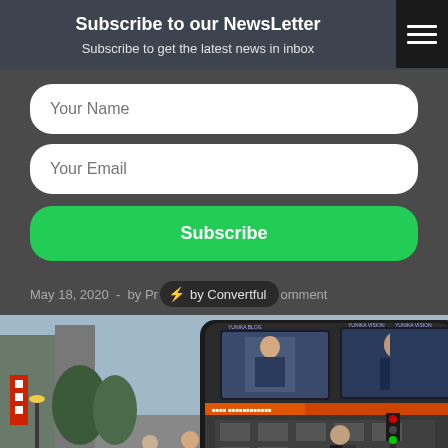Subscribe to our NewsLetter
Subscribe to get the latest news in inbox
Your Name
Your Email
Subscribe
May 18, 2020  -  by Pri⚡ by Convertful omment
[Figure (photo): Street scene in Japan showing a large curved building with LED billboard screens displaying news anchors (YUNIKA VISION), pedestrians walking in foreground wearing masks, Tokyo urban setting with traffic lights and trees]